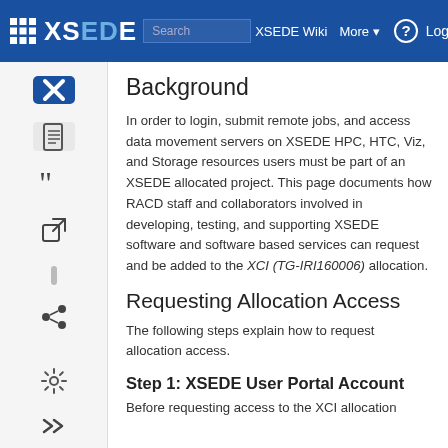XSEDE Wiki | More | Log in
Background
In order to login, submit remote jobs, and access data movement servers on XSEDE HPC, HTC, Viz, and Storage resources users must be part of an XSEDE allocated project. This page documents how RACD staff and collaborators involved in developing, testing, and supporting XSEDE software and software based services can request and be added to the XCI (TG-IRI160006) allocation.
Requesting Allocation Access
The following steps explain how to request allocation access.
Step 1: XSEDE User Portal Account
Before requesting access to the XCI allocation